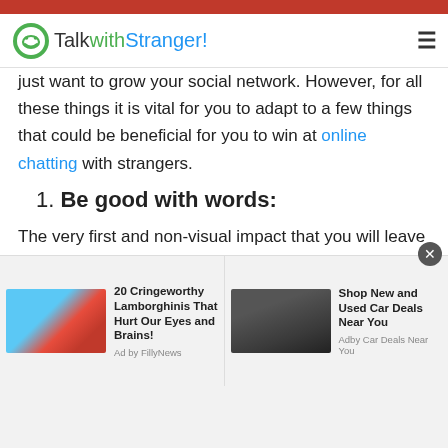[Figure (screenshot): TalkwithStranger website header/navbar with green smiley logo icon and site name]
just want to grow your social network. However, for all these things it is vital for you to adapt to a few things that could be beneficial for you to win at online chatting with strangers.
1. Be good with words:
The very first and non-visual impact that you will leave on the people will be by your words. This is an important aspect in building an attraction of people towards you. After this stage you will be able to video chat with the random people of Somalia.
[Figure (infographic): Advertisement bar with two ads: '20 Cringeworthy Lamborghinis That Hurt Our Eyes and Brains! Ad by FillyNews' and 'Shop New and Used Car Deals Near You Adby Car Deals Near You']